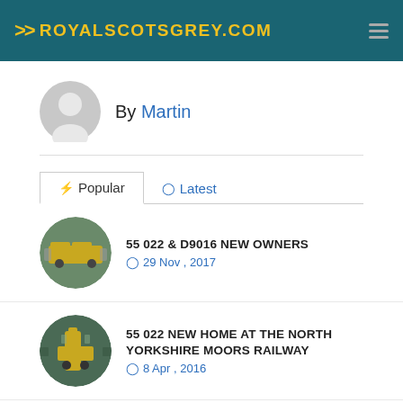>> ROYALSCOTSGREY.COM
By Martin
Popular | Latest
55 022 & D9016 NEW OWNERS
29 Nov , 2017
55 022 NEW HOME AT THE NORTH YORKSHIRE MOORS RAILWAY
8 Apr , 2016
EXCITING DEVELOPMENTS FOR 'GORDON'